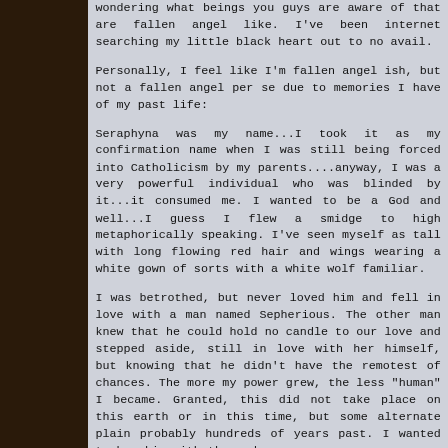wondering what beings you guys are aware of that are fallen angel like. I've been internet searching my little black heart out to no avail.
Personally, I feel like I'm fallen angel ish, but not a fallen angel per se due to memories I have of my past life:
Seraphyna was my name...I took it as my confirmation name when I was still being forced into Catholicism by my parents....anyway, I was a very powerful individual who was blinded by it...it consumed me. I wanted to be a God and well...I guess I flew a smidge to high metaphorically speaking. I've seen myself as tall with long flowing red hair and wings wearing a white gown of sorts with a white wolf familiar.
I was betrothed, but never loved him and fell in love with a man named Sepherious. The other man knew that he could hold no candle to our love and stepped aside, still in love with her himself, but knowing that he didn't have the remotest of chances. The more my power grew, the less "human" I became. Granted, this did not take place on this earth or in this time, but some alternate plain probably hundreds of years past. I wanted to be akin with the gods.
I ended up cheating on Sepherious with a man named Vandon. I never forgave myself, seeing what this quest for power had turned me into. Knowing that no one could destroy me, I consumed myself in flames for what I thought would be an eternity of conscious death.
Soon after, Sepherious and my betrothed were in a great battle where Sepherious was defeated and imprisoned in an emerald talisman sealed with dragon and lizard symbols. Everyone involved